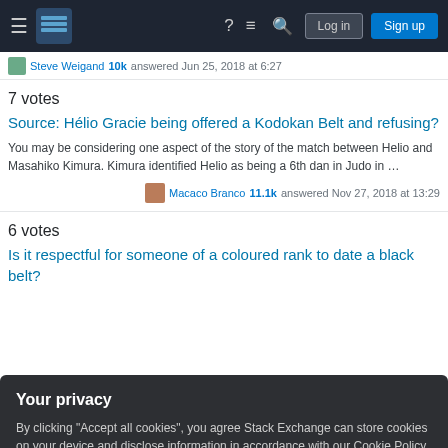Stack Exchange navigation bar with Log in and Sign up buttons
Steve Weigand 10k answered Jun 25, 2018 at 6:27
7 votes
Source: Hélio Gracie being offered a Kodokan Belt and refusing?
You may be considering one aspect of the story of the match between Helio and Masahiko Kimura. Kimura identified Helio as being a 6th dan in Judo in …
Macaco Branco 11.1k answered Nov 27, 2018 at 13:29
6 votes
Is it respectful for someone of a coloured rank to date a black belt?
Your privacy
By clicking "Accept all cookies", you agree Stack Exchange can store cookies on your device and disclose information in accordance with our Cookie Policy.
Accept all cookies
Customize settings
I've been in your instructor's position a few times, and I've threatened to demote. But I recognize that taking away a belt can be detrimental in several